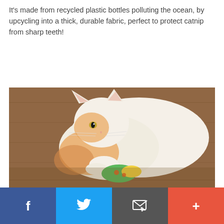It's made from recycled plastic bottles polluting the ocean, by upcycling into a thick, durable fabric, perfect to protect catnip from sharp teeth!
[Figure (photo): An orange and white cat playing with a small colorful catnip toy (green with yellow and orange accents) on a wooden floor surface.]
[Figure (infographic): Social media share bar with four buttons: Facebook (blue, f icon), Twitter (light blue, bird icon), Email (dark grey, envelope/cursor icon), and a plus/add button (orange-red).]